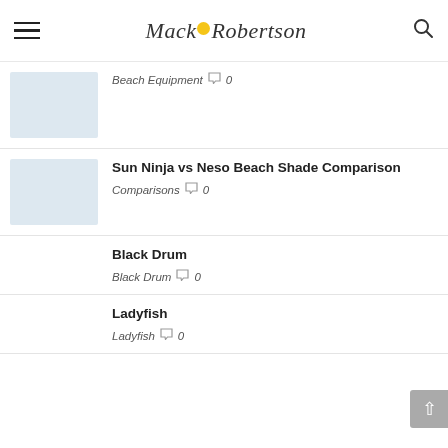Mack Robertson
Beach Equipment  0
Sun Ninja vs Neso Beach Shade Comparison
Comparisons  0
Black Drum
Black Drum  0
Ladyfish
Ladyfish  0